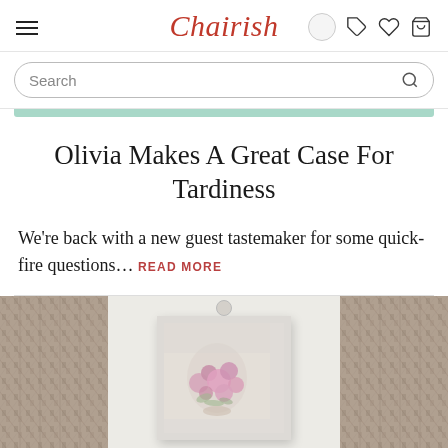Chairish — navigation bar with hamburger menu, logo, search circle, tag icon, heart icon, bag icon
Search
Olivia Makes A Great Case For Tardiness
We're back with a new guest tastemaker for some quick-fire questions... READ MORE
[Figure (photo): Photo strip showing decorative textiles/rugs on the sides and a framed floral artwork in the center on a light wall background]